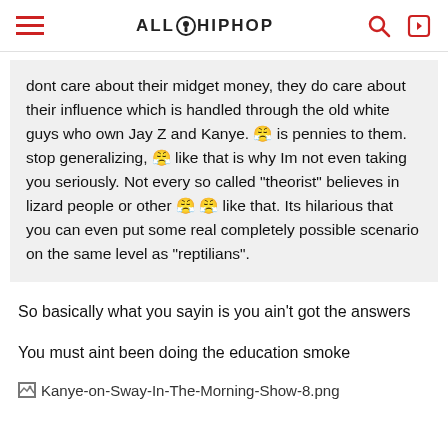ALLHIPHOP
dont care about their midget money, they do care about their influence which is handled through the old white guys who own Jay Z and Kanye. 😤 is pennies to them. stop generalizing, 😤 like that is why Im not even taking you seriously. Not every so called "theorist" believes in lizard people or other 😤 😤 like that. Its hilarious that you can even put some real completely possible scenario on the same level as "reptilians".
So basically what you sayin is you ain't got the answers
You must aint been doing the education smoke
[Figure (photo): Kanye-on-Sway-In-The-Morning-Show-8.png image placeholder]